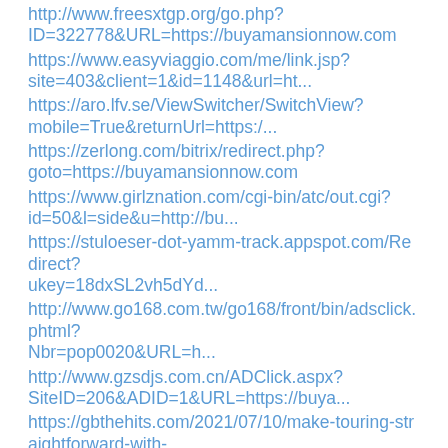http://www.freesxtgp.org/go.php?ID=322778&URL=https://buyamansionnow.com
https://www.easyviaggio.com/me/link.jsp?site=403&client=1&id=1148&url=ht...
https://aro.lfv.se/ViewSwitcher/SwitchView?mobile=True&returnUrl=https:/...
https://zerlong.com/bitrix/redirect.php?goto=https://buyamansionnow.com
https://www.girlznation.com/cgi-bin/atc/out.cgi?id=50&l=side&u=http://bu...
https://stuloeser-dot-yamm-track.appspot.com/Redirect?ukey=18dxSL2vh5dYd...
http://www.go168.com.tw/go168/front/bin/adsclick.phtml?Nbr=pop0020&URL=h...
http://www.gzsdjs.com.cn/ADClick.aspx?SiteID=206&ADID=1&URL=https://buya...
https://gbthehits.com/2021/07/10/make-touring-straightforward-with-a-few...
https://en.alzahra.ac.ir/fi/web/vietnam/home/-/blogs/87206?_33_redirect=...
https://www.mapmyvisit.com/Link/1161/03AE9107CF463F500938466652FA781F/?r...
http://movie.qkyoku.net/out.cgi?id=11145&url=https://buyamansionnow.com
http://members.asoa.org/sso/logout.aspx?returnurl=https://buyamansionnow...
https://orbisenergiainteligente.com/Session/ChangeCulture?lang=1&returnU...
http://www.oceanaresidences.com/keybiscayne/wp-content/themes/oceana/flo...
http://webletter.auroranetwork.it/Go.aspx?XID=aGdpVm5Ib3p6T3AzNUtIU0p1dz...
http://tours.imagemaker360.com/Viewer/Feature/Schools.asp?...